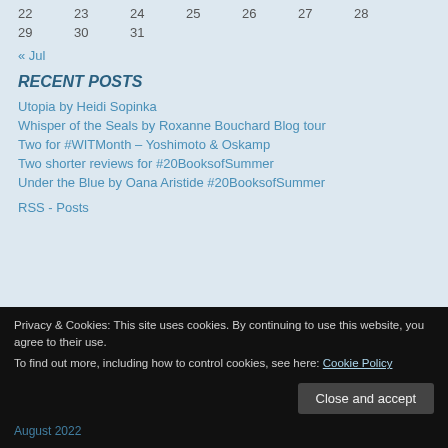22  23  24  25  26  27  28
29  30  31
« Jul
RECENT POSTS
Utopia by Heidi Sopinka
Whisper of the Seals by Roxanne Bouchard Blog tour
Two for #WITMonth – Yoshimoto & Oskamp
Two shorter reviews for #20BooksofSummer
Under the Blue by Oana Aristide #20BooksofSummer
RSS - Posts
Privacy & Cookies: This site uses cookies. By continuing to use this website, you agree to their use.
To find out more, including how to control cookies, see here: Cookie Policy
Close and accept
August 2022